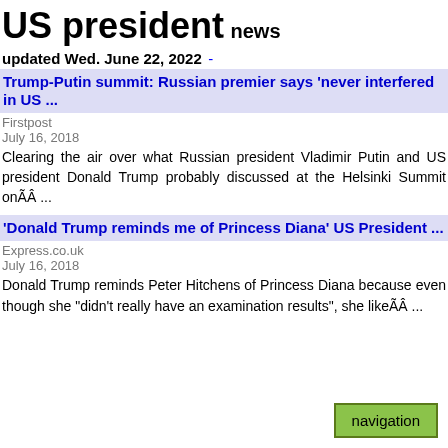US president
news
updated Wed. June 22, 2022
-
Trump-Putin summit: Russian premier says 'never interfered in US ...
Firstpost
July 16, 2018
Clearing the air over what Russian president Vladimir Putin and US president Donald Trump probably discussed at the Helsinki Summit onÃÂ ...
'Donald Trump reminds me of Princess Diana' US President ...
Express.co.uk
July 16, 2018
Donald Trump reminds Peter Hitchens of Princess Diana because even though she "didn't really have an examination results", she likeÃÂ ...
navigation